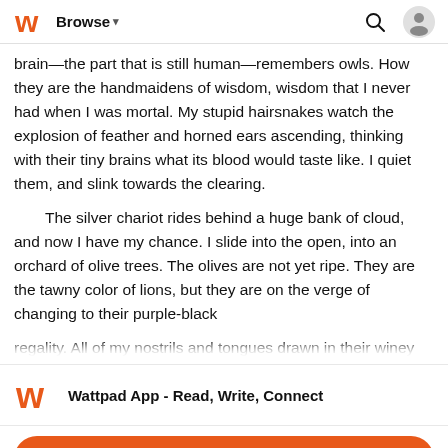Browse
brain—the part that is still human—remembers owls. How they are the handmaidens of wisdom, wisdom that I never had when I was mortal. My stupid hairsnakes watch the explosion of feather and horned ears ascending, thinking with their tiny brains what its blood would taste like. I quiet them, and slink towards the clearing.

The silver chariot rides behind a huge bank of cloud, and now I have my chance. I slide into the open, into an orchard of olive trees. The olives are not yet ripe. They are the tawny color of lions, but they are on the verge of changing to their purple-black regality. All of my nostrils and tongues drawn in their winey smell
Wattpad App - Read, Write, Connect
Start Reading
Log in with Browser